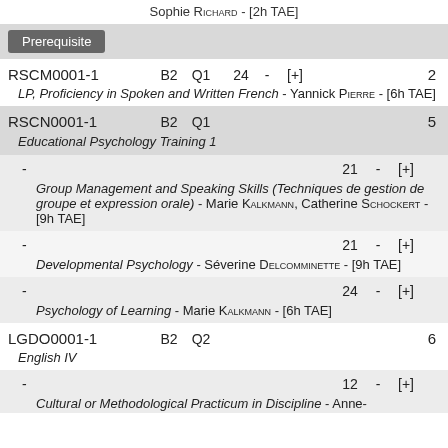Sophie RICHARD - [2h TAE]
Prerequisite
| Code | Level | Quarter | Num | - | [+] | Credits |
| --- | --- | --- | --- | --- | --- | --- |
| RSCM0001-1 | B2 | Q1 | 24 | - | [+] | 2 |
| LP, Proficiency in Spoken and Written French - Yannick PIERRE - [6h TAE] |  |  |  |  |  |  |
| RSCN0001-1 | B2 | Q1 |  |  |  | 5 |
| Educational Psychology Training 1 |  |  |  |  |  |  |
| - |  |  | 21 | - | [+] |  |
| Group Management and Speaking Skills (Techniques de gestion de groupe et expression orale) - Marie KALKMANN, Catherine SCHOCKERT - [9h TAE] |  |  |  |  |  |  |
| - |  |  | 21 | - | [+] |  |
| Developmental Psychology - Séverine DELCOMMINETTE - [9h TAE] |  |  |  |  |  |  |
| - |  |  | 24 | - | [+] |  |
| Psychology of Learning - Marie KALKMANN - [6h TAE] |  |  |  |  |  |  |
| LGDO0001-1 | B2 | Q2 |  |  |  | 6 |
| English IV |  |  |  |  |  |  |
| - |  |  | 12 | - | [+] |  |
| Cultural or Methodological Practicum in Discipline - Anne- |  |  |  |  |  |  |